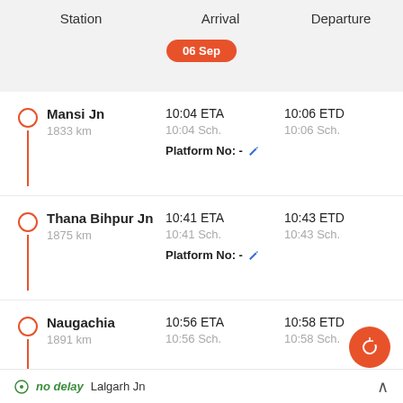| Station | Arrival | Departure |
| --- | --- | --- |
| Mansi Jn
1833 km | 10:04 ETA
10:04 Sch. | 10:06 ETD
10:06 Sch. |
| Thana Bihpur Jn
1875 km | 10:41 ETA
10:41 Sch. | 10:43 ETD
10:43 Sch. |
| Naugachia
1891 km | 10:56 ETA
10:56 Sch. | 10:58 ETD
10:58 Sch. |
06 Sep
Platform No: -
Platform No: -
no delay Lalgarh Jn